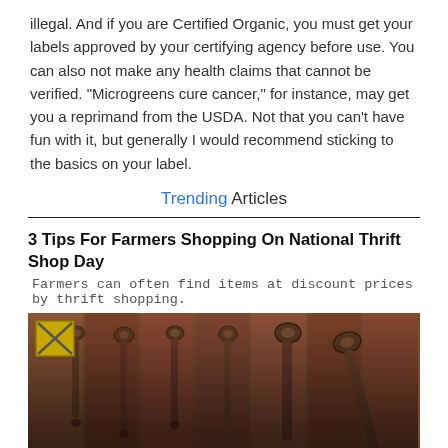illegal. And if you are Certified Organic, you must get your labels approved by your certifying agency before use. You can also not make any health claims that cannot be verified. "Microgreens cure cancer," for instance, may get you a reprimand from the USDA. Not that you can't have fun with it, but generally I would recommend sticking to the basics on your label.
Trending Articles
3 Tips For Farmers Shopping On National Thrift Shop Day
Farmers can often find items at discount prices by thrift shopping.
[Figure (photo): Photo of several rusty wrenches hanging on a wooden board, with overlay text '3 Tips For Farmers Shopping On National Thrift' in white bold font at the bottom.]